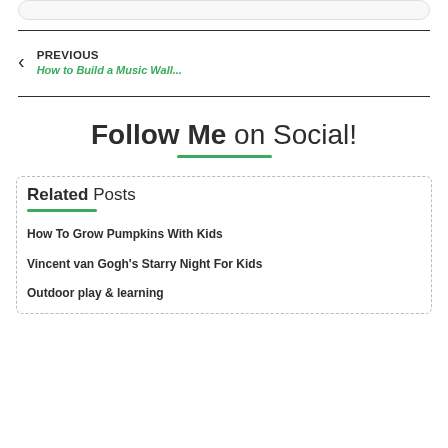PREVIOUS
How to Build a Music Wall...
Follow Me on Social!
Related Posts
How To Grow Pumpkins With Kids
Vincent van Gogh's Starry Night For Kids
Outdoor play & learning